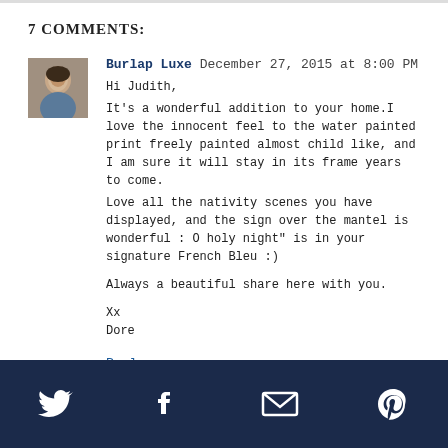7 COMMENTS:
Burlap Luxe December 27, 2015 at 8:00 PM
Hi Judith,
It's a wonderful addition to your home.I love the innocent feel to the water painted print freely painted almost child like, and I am sure it will stay in its frame years to come.
Love all the nativity scenes you have displayed, and the sign over the mantel is wonderful : O holy night" is in your signature French Bleu :)

Always a beautiful share here with you.

Xx
Dore
Reply